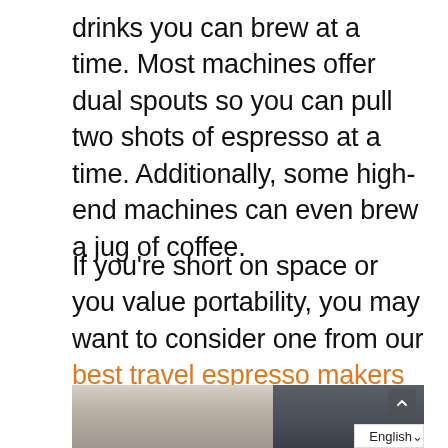drinks you can brew at a time. Most machines offer dual spouts so you can pull two shots of espresso at a time. Additionally, some high-end machines can even brew a jug of coffee.
If you're short on space or you value portability, you may want to consider one from our best travel espresso makers list.
[Figure (photo): Partial photo of an espresso machine, showing metallic components on left and dark background on right, with a language selector bar (English) at the bottom right.]